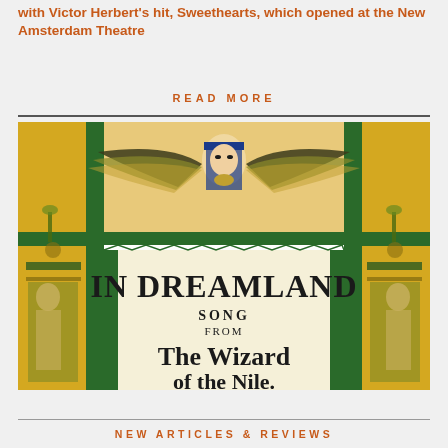with Victor Herbert's hit, Sweethearts, which opened at the New Amsterdam Theatre
READ MORE
[Figure (illustration): Vintage Egyptian-themed sheet music cover for 'In Dreamland, Song from The Wizard of the Nile.' Features an Egyptian goddess with wings spread at top, flanked by yellow and green panels with hieroglyphic-style decorations and Egyptian figures. Central cream panel bears bold black Gothic text.]
NEW ARTICLES & REVIEWS